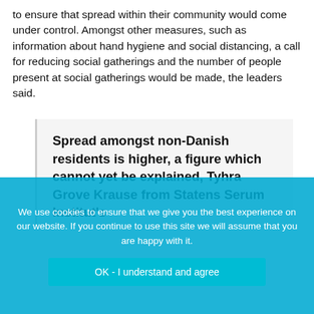to ensure that spread within their community would come under control. Amongst other measures, such as information about hand hygiene and social distancing, a call for reducing social gatherings and the number of people present at social gatherings would be made, the leaders said.
Spread amongst non-Danish residents is higher, a figure which cannot yet be explained, Tyhra Grove Krause from Statens Serum Institut's diseases ... so
We use cookies to ensure that we give you the best experience on our website. If you continue to use this site we will assume that you are happy with it.
OK - I understand and agree